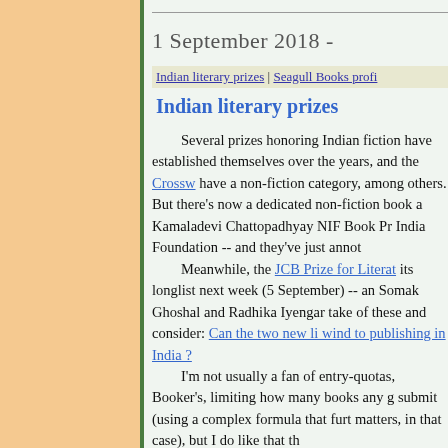1 September 2018 -
Indian literary prizes | Seagull Books profi
Indian literary prizes
Several prizes honoring Indian fiction have established themselves over the years, and the Crossword have a non-fiction category, among others. But there's now a dedicated non-fiction book award: the Kamaladevi Chattopadhyay NIF Book Prize, from the New India Foundation -- and they've just announced. Meanwhile, the JCB Prize for Literature announces its longlist next week (5 September) -- and Somak Ghoshal and Radhika Iyengar take stock of these and consider: Can the two new literary prizes bring wind to publishing in India ? I'm not usually a fan of entry-quotas, as at the Booker's, limiting how many books any given publisher can submit (using a complex formula that further complicates matters, in that case), but I do like that the ... attracting not only more, and bolder,